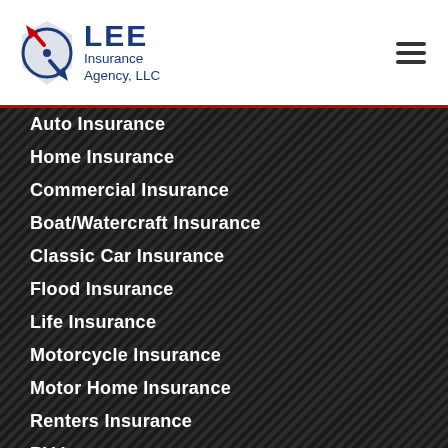LEE Insurance Agency, LLC
Auto Insurance
Home Insurance
Commercial Insurance
Boat/Watercraft Insurance
Classic Car Insurance
Flood Insurance
Life Insurance
Motorcycle Insurance
Motor Home Insurance
Renters Insurance
RV Insurance